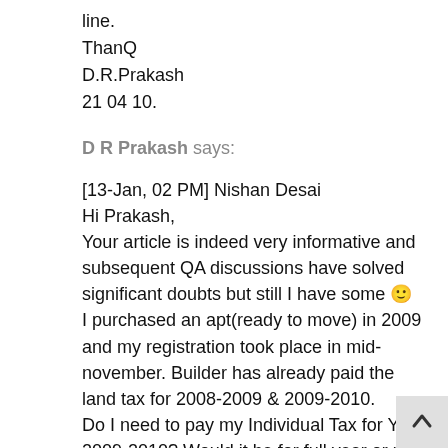line.
ThanQ
D.R.Prakash
21 04 10.
D R Prakash says:
[13-Jan, 02 PM] Nishan Desai
Hi Prakash,
Your article is indeed very informative and subsequent QA discussions have solved significant doubts but still I have some 🙂
I purchased an apt(ready to move) in 2009 and my registration took place in mid-november. Builder has already paid the land tax for 2008-2009 & 2009-2010.
Do I need to pay my Individual Tax for Year 2009-2010? Would it be for full year or pro-rated based on